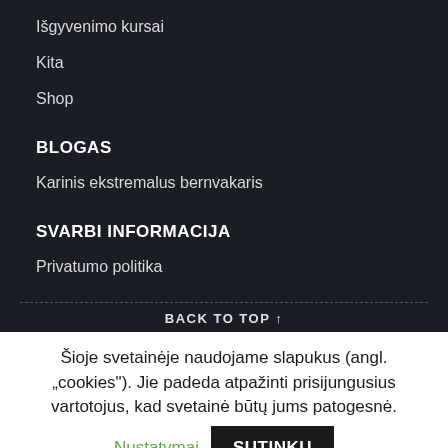Išgyvenimo kursai
Kita
Shop
BLOGAS
Karinis ekstremalus bernvakaris
SVARBI INFORMACIJA
Privatumo politika
BACK TO TOP ↑
Šioje svetainėje naudojame slapukus (angl. „cookies"). Jie padeda atpažinti prisijungusius vartotojus, kad svetainė būtų jums patogesnė.
Nustatymai
SUTINKU